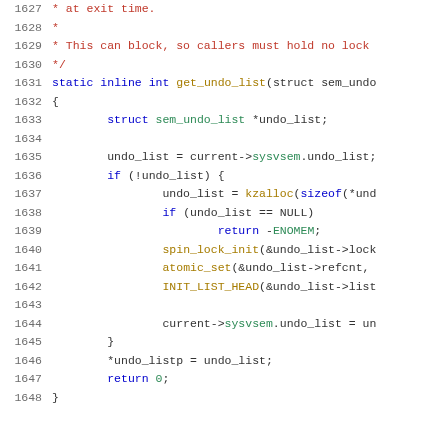Source code listing lines 1627–1647, C language kernel code for get_undo_list function